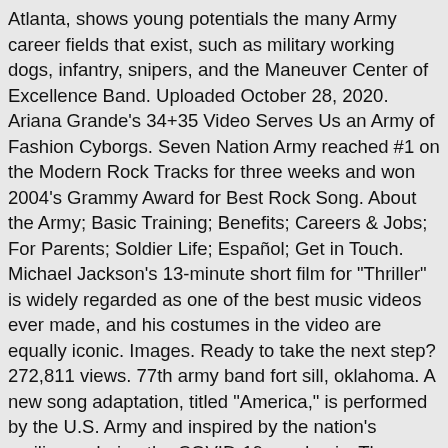Atlanta, shows young potentials the many Army career fields that exist, such as military working dogs, infantry, snipers, and the Maneuver Center of Excellence Band. Uploaded October 28, 2020. Ariana Grande's 34+35 Video Serves Us an Army of Fashion Cyborgs. Seven Nation Army reached #1 on the Modern Rock Tracks for three weeks and won 2004's Grammy Award for Best Rock Song. About the Army; Basic Training; Benefits; Careers & Jobs; For Parents; Soldier Life; Español; Get in Touch. Michael Jackson's 13-minute short film for "Thriller" is widely regarded as one of the best music videos ever made, and his costumes in the video are equally iconic. Images. Ready to take the next step? 272,811 views. 77th army band fort sill, oklahoma. A new song adaptation, titled "America," is performed by the U.S. Army and inspired by the nation's resiliency during the COVID-19 pandemic. The future Duchess of Sussex pops up in the clip for Richard Marx single Christmas Spirit from 2012. Artist: 2 Gang Huncho ... LA Rapper Arrested After Bragging About Filing False Unemployment Claims In Music Video "EDD"! 56th army band oklahoma army national guard 148th army